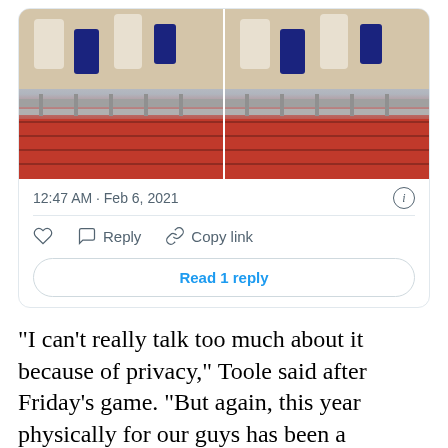[Figure (photo): Two side-by-side photos of a basketball game scene showing players and spectators near railing/barrier area with red seats in background]
12:47 AM · Feb 6, 2021
Reply   Copy link
Read 1 reply
“I can’t really talk too much about it because of privacy,” Toole said after Friday’s game. “But again, this year physically for our guys has been a struggle. Some of those physical challenges then present some mental frustration as well. Our guys want to be playing at the level that